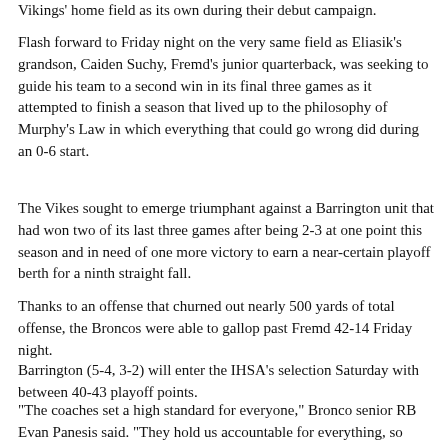Vikings' home field as its own during their debut campaign.
Flash forward to Friday night on the very same field as Eliasik's grandson, Caiden Suchy, Fremd's junior quarterback, was seeking to guide his team to a second win in its final three games as it attempted to finish a season that lived up to the philosophy of Murphy's Law in which everything that could go wrong did during an 0-6 start.
The Vikes sought to emerge triumphant against a Barrington unit that had won two of its last three games after being 2-3 at one point this season and in need of one more victory to earn a near-certain playoff berth for a ninth straight fall.
Thanks to an offense that churned out nearly 500 yards of total offense, the Broncos were able to gallop past Fremd 42-14 Friday night.
Barrington (5-4, 3-2) will enter the IHSA's selection Saturday with between 40-43 playoff points.
"The coaches set a high standard for everyone," Bronco senior RB Evan Panesis said. "They hold us accountable for everything, so there's a lot of pressure, but it helps us succeed. Last game and this season, they have billing it as for its really and I know that I had to